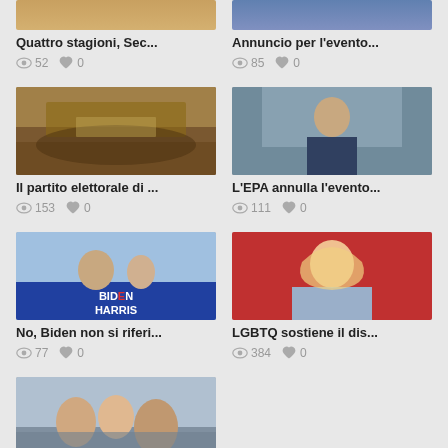[Figure (photo): Partial photo at top left, person partially visible]
Quattro stagioni, Sec...
52 views, 0 likes
[Figure (photo): Partial photo at top right, flags visible]
Annuncio per l'evento...
85 views, 0 likes
[Figure (photo): Political rally in a grand hall]
Il partito elettorale di ...
153 views, 0 likes
[Figure (photo): Man in suit standing with arms crossed in front of large windows]
L'EPA annulla l'evento...
111 views, 0 likes
[Figure (photo): Biden Harris campaign rally, Biden pointing upward]
No, Biden non si riferi...
77 views, 0 likes
[Figure (photo): Blonde woman smiling in front of red background]
LGBTQ sostiene il dis...
384 views, 0 likes
[Figure (photo): Partial photo of people near a car, bottom of page]
Il sindaco di Tucson e...